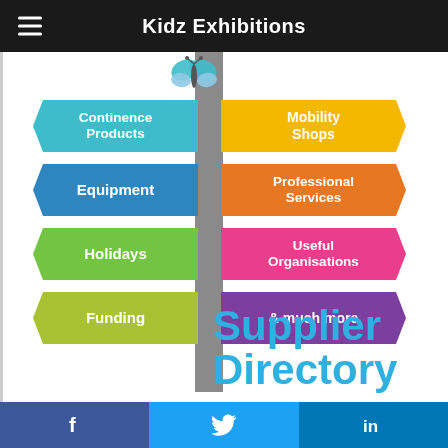Kidz Exhibitions
[Figure (infographic): A signpost infographic with a vertical grey pole and colorful arrow signs pointing left and right, labeled with supplier directory categories: Continence Products, Mobility Shops, Equipment, Professional Services, Holidays, Useful Organisations, Funding, & much more. A butterfly sits atop the pole. Large blue text reads 'Supplier Directory'.]
f  [Twitter bird]  in